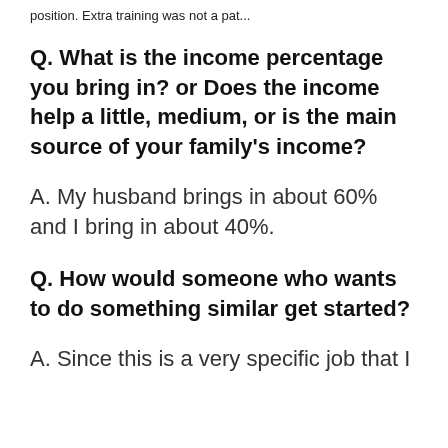position. Extra training was not a pat...
Q. What is the income percentage you bring in?  or Does the income help a little, medium, or is the main source of your family’s income?
A. My husband brings in about 60% and I bring in about 40%.
Q. How would someone who wants to do something similar get started?
A. Since this is a very specific job that I